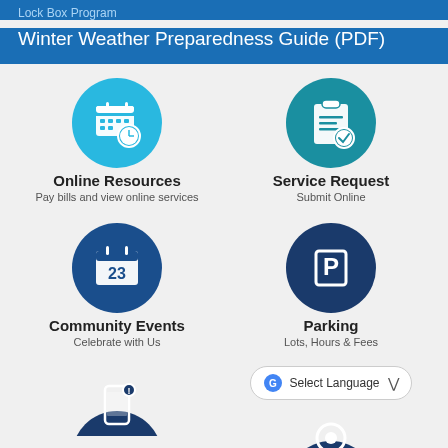Lock Box Program
Winter Weather Preparedness Guide (PDF)
[Figure (illustration): Cyan circle with calendar and clock icon — Online Resources]
Online Resources
Pay bills and view online services
[Figure (illustration): Teal circle with clipboard and checkmark icon — Service Request]
Service Request
Submit Online
[Figure (illustration): Dark blue circle with calendar showing 23 — Community Events]
Community Events
Celebrate with Us
[Figure (illustration): Navy circle with parking P icon — Parking]
Parking
Lots, Hours & Fees
[Figure (illustration): Dark blue circle with mobile/alert icon — partial bottom]
[Figure (illustration): Dark navy circle with location pin icon — partial bottom right]
Select Language